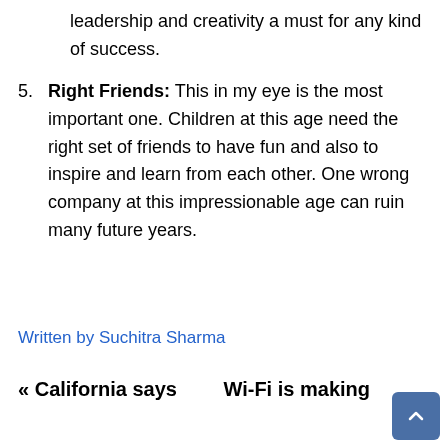leadership and creativity a must for any kind of success.
5. Right Friends: This in my eye is the most important one. Children at this age need the right set of friends to have fun and also to inspire and learn from each other. One wrong company at this impressionable age can ruin many future years.
Written by Suchitra Sharma
« California says
Wi-Fi is making